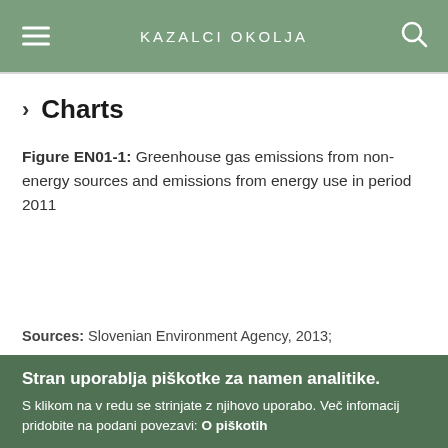KAZALCI OKOLJA
Charts
Figure EN01-1: Greenhouse gas emissions from non-energy sources and emissions from energy use in period 2011
Sources: Slovenian Environment Agency, 2013;
Stran uporablja piškotke za namen analitike.
S klikom na v redu se strinjate z njihovo uporabo. Več infomacij pridobite na podani povezavi: O piškotih